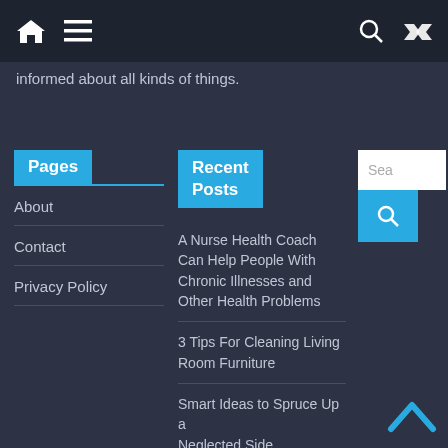Navigation bar with home icon, menu icon, search icon, shuffle icon
informed about all kinds of things.
Pages
About
Contact
Privacy Policy
Recent Posts
A Nurse Health Coach Can Help People With Chronic Illnesses and Other Health Problems
3 Tips For Cleaning Living Room Furniture
Smart Ideas to Spruce Up a Neglected Side